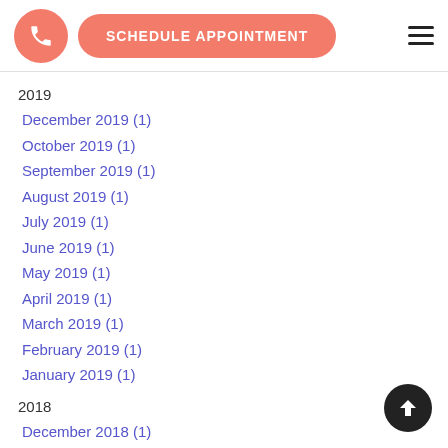SCHEDULE APPOINTMENT
2019
December 2019 (1)
October 2019 (1)
September 2019 (1)
August 2019 (1)
July 2019 (1)
June 2019 (1)
May 2019 (1)
April 2019 (1)
March 2019 (1)
February 2019 (1)
January 2019 (1)
2018
December 2018 (1)
November 2018 (2)
October 2018 (2)
September 2018 (3)
August 2018 (3)